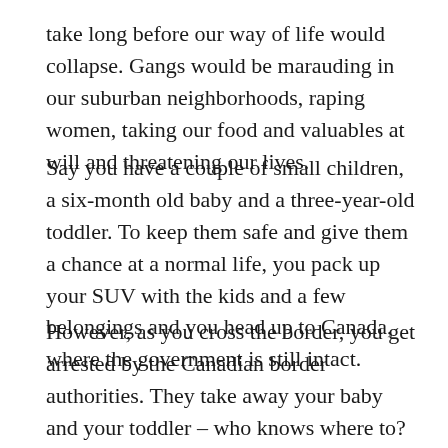take long before our way of life would collapse. Gangs would be marauding in our suburban neighborhoods, raping women, taking our food and valuables at will and threatening our lives.
Say you have a couple of small children, a six-month old baby and a three-year-old toddler. To keep them safe and give them a chance at a normal life, you pack up your SUV with the kids and a few belongings and you head up to Canada, where the government is still intact.
However, as you cross the border, you get arrested by the Canadian border authorities. They take away your baby and your toddler – who knows where to?  – and without obtaining any information about how to find